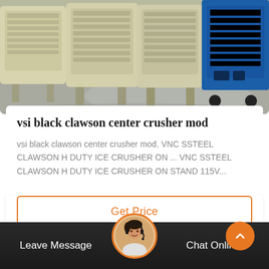[Figure (photo): Industrial rock crushers in a factory/warehouse setting. Multiple large beige/cream colored jaw or cone crusher machines lined up on a gray concrete floor. A blue machine is visible on the right side.]
vsi black clawson center crusher mod
vsi black clawson center crusher mod. VNC SSTEEL CLAWSON H DUTY ICE CRUSHER ON ... VNC SSTEEL CLAWSON H DUTY ICE CRUSHER ON STAND 115V...
Get Price
Leave Message
Chat Online